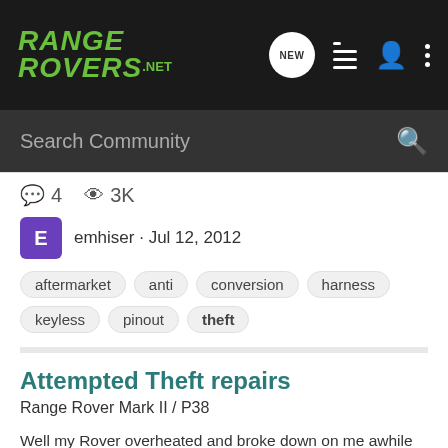[Figure (screenshot): RangeRovers.net website header with logo, NEW button, list icon, person icon, and dots menu icon on dark background]
Search Community
4  3K
emhiser · Jul 12, 2012
aftermarket  anti  conversion  harness  keyless  pinout  theft
Attempted Theft repairs
Range Rover Mark II / P38
Well my Rover overheated and broke down on me awhile back and while waiting for tow/recovery idiots broke into her. The good part was no broken glass, bad part is they wasted the ignition and steering column area including breaking the ignition barrel surround. As well they got the battery and...
8  1K